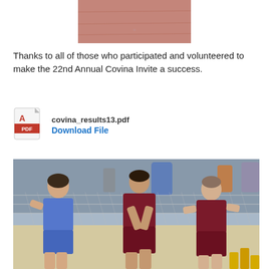[Figure (photo): Partial view of a red running track surface from above]
Thanks to all of those who participated and volunteered to make the 22nd Annual Covina Invite a success.
[Figure (other): PDF file download link with Adobe PDF icon, filename covina_results13.pdf and Download File link]
[Figure (photo): Three male runners competing in a sprint race at a track meet. Runner in blue uniform on left, two runners in dark red/maroon uniforms in center and right. Chain-link fence and crowd visible in background.]